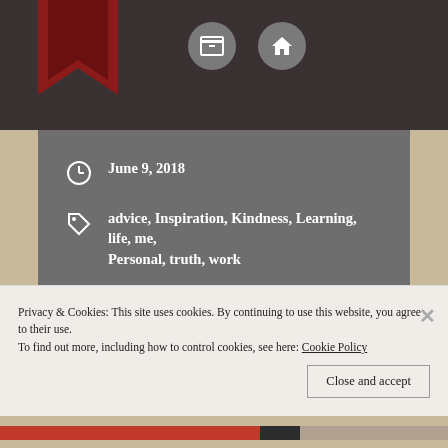[Figure (screenshot): Top dark header bar with bookmark icon (red/dark) and two circular grey icon buttons (archive/box and home icons)]
June 9, 2018
advice, Inspiration, Kindness, Learning, life, me, Personal, truth, work
Previous post
Next post
Privacy & Cookies: This site uses cookies. By continuing to use this website, you agree to their use.
To find out more, including how to control cookies, see here: Cookie Policy
Close and accept